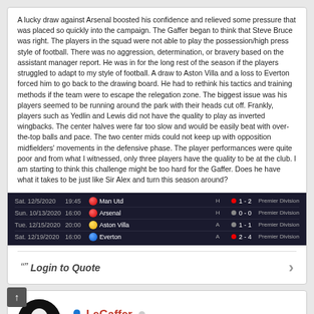A lucky draw against Arsenal boosted his confidence and relieved some pressure that was placed so quickly into the campaign. The Gaffer began to think that Steve Bruce was right. The players in the squad were not able to play the possession/high press style of football. There was no aggression, determination, or bravery based on the assistant manager report. He was in for the long rest of the season if the players struggled to adapt to my style of football. A draw to Aston Villa and a loss to Everton forced him to go back to the drawing board. He had to rethink his tactics and training methods if the team were to escape the relegation zone. The biggest issue was his players seemed to be running around the park with their heads cut off. Frankly, players such as Yedlin and Lewis did not have the quality to play as inverted wingbacks. The center halves were far too slow and would be easily beat with over-the-top balls and pace. The two center mids could not keep up with opposition midfielders' movements in the defensive phase. The player performances were quite poor and from what I witnessed, only three players have the quality to be at the club. I am starting to think this challenge might be too hard for the Gaffer. Does he have what it takes to be just like Sir Alex and turn this season around?
[Figure (screenshot): Match results table showing: Sat. 12/5/2020 19:45 Man Utd H 1-2 Premier Division; Sun. 10/13/2020 16:00 Arsenal H 0-0 Premier Division; Tue. 12/15/2020 20:00 Aston Villa A 1-1 Premier Division; Sat. 12/19/2020 16:00 Everton A 2-4 Premier Division]
“” Login to Quote
LeGaffer
1 year